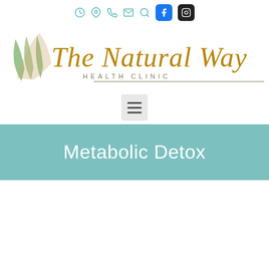[Figure (logo): The Natural Way Health Clinic logo with decorative leaf/figure graphic and script text]
Metabolic Detox